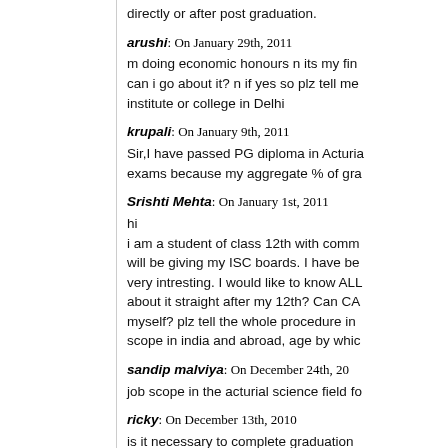directly or after post graduation.
arushi: On January 29th, 2011
m doing economic honours n its my fi... can i go about it? n if yes so plz tell me... institute or college in Delhi
krupali: On January 9th, 2011
Sir,I have passed PG diploma in Actri... exams because my aggregate % of gr...
Srishti Mehta: On January 1st, 2011
hi
i am a student of class 12th with comm... will be giving my ISC boards. I have be... very intresting. I would like to know AL... about it straight after my 12th? Can CA... myself? plz tell the whole procedure in... scope in india and abroad, age by whi...
sandip malviya: On December 24th, 20...
job scope in the acturial science field f...
ricky: On December 13th, 2010
is it necessary to complete graduation... can any undergraduate person (12 pas...
richa kayal: On December 3rd, 2010
I am a b.com 2nd year student interest... kindly furnish me d same at d earliest...